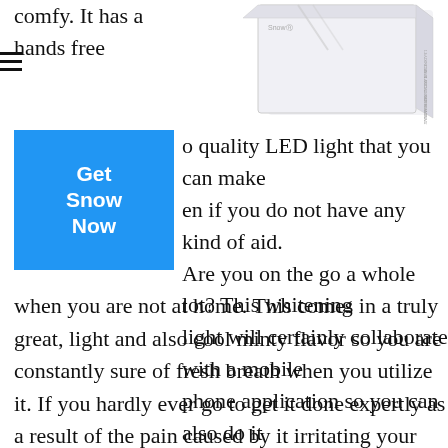comfy. It has a hands free
[Figure (photo): Product box for a teeth whitening kit with LED light, white packaging with text on the side]
Get Snow Now
quality LED light that you can make en if you do not have any kind of aid. Are you on the go a whole lot? This whitening light will certainly collaborate with a mobile phone application so you can also do it
when you are not at home. This comes in a truly great, light and also cool minty flavor so you are constantly sure of fresh breath when you utilize it. If you hardly ever go to get it done expertly as a result of the pain caused by it irritating your delicate teeth, this coincides stuff, however at a much lower dosage. You can obtain comparable